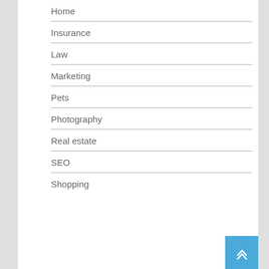Home
Insurance
Law
Marketing
Pets
Photography
Real estate
SEO
Shopping